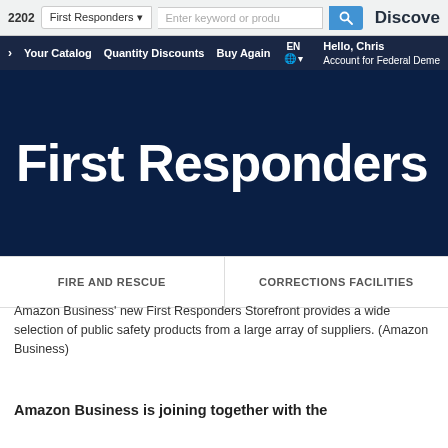[Figure (screenshot): Amazon Business website screenshot showing top navigation bar with 'First Responders' dropdown, search box, Discover link, secondary dark navy nav with Your Catalog, Quantity Discounts, Buy Again, EN language selector, Hello Chris Account for Federal Demo]
[Figure (screenshot): Amazon Business First Responders storefront hero banner with large white bold text 'First Responders' on dark navy background]
[Figure (screenshot): Category tabs showing FIRE AND RESCUE and CORRECTIONS FACILITIES]
Amazon Business' new First Responders Storefront provides a wide selection of public safety products from a large array of suppliers. (Amazon Business)
Amazon Business is joining together with the